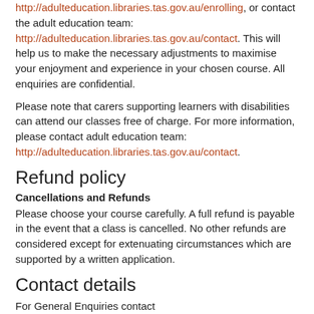http://adulteducation.libraries.tas.gov.au/enrolling, or contact the adult education team: http://adulteducation.libraries.tas.gov.au/contact. This will help us to make the necessary adjustments to maximise your enjoyment and experience in your chosen course. All enquiries are confidential.
Please note that carers supporting learners with disabilities can attend our classes free of charge. For more information, please contact adult education team: http://adulteducation.libraries.tas.gov.au/contact.
Refund policy
Cancellations and Refunds
Please choose your course carefully. A full refund is payable in the event that a class is cancelled. No other refunds are considered except for extenuating circumstances which are supported by a written application.
Contact details
For General Enquiries contact
(03) 6165 5564
Or for specific enquiries relating to issues in your area, contact your